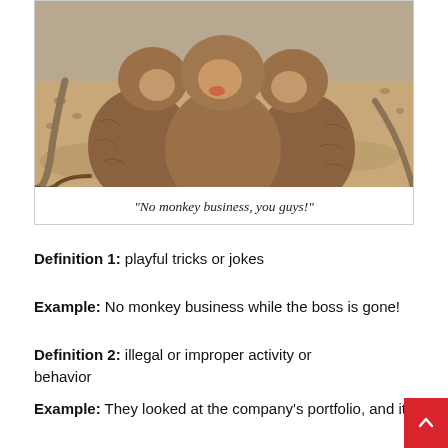[Figure (photo): Three gelada baboons/monkeys huddled together closely, sitting on a sandy/rocky ground, photographed from behind showing their brown furry backs]
“No monkey business, you guys!”
Definition 1: playful tricks or jokes
Example: No monkey business while the boss is gone!
Definition 2: illegal or improper activity or behavior
Example: They looked at the company’s portfolio, and it